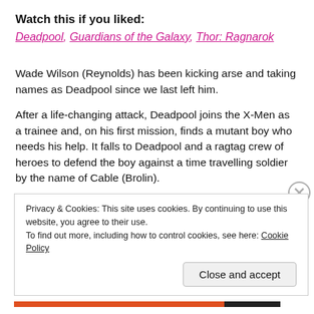Watch this if you liked:
Deadpool, Guardians of the Galaxy, Thor: Ragnarok
Wade Wilson (Reynolds) has been kicking arse and taking names as Deadpool since we last left him.
After a life-changing attack, Deadpool joins the X-Men as a trainee and, on his first mission, finds a mutant boy who needs his help. It falls to Deadpool and a ragtag crew of heroes to defend the boy against a time travelling soldier by the name of Cable (Brolin).
Privacy & Cookies: This site uses cookies. By continuing to use this website, you agree to their use.
To find out more, including how to control cookies, see here: Cookie Policy